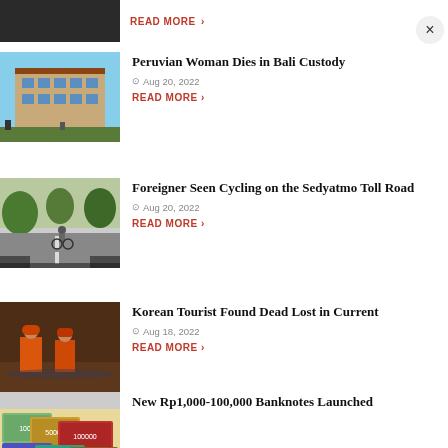[Figure (photo): Partial top strip: dark colored building thumbnail cut off, with READ MORE link]
READ MORE >
[Figure (photo): Multi-story building with traditional Balinese architectural elements, blue sky background]
Peruvian Woman Dies in Bali Custody
Aug 20, 2022
READ MORE >
[Figure (photo): Cyclist riding on a highway toll road, viewed from inside a car]
Foreigner Seen Cycling on the Sedyatmo Toll Road
Aug 20, 2022
READ MORE >
[Figure (photo): Rescue workers in orange uniforms on a boat, water search and rescue scene]
Korean Tourist Found Dead Lost in Current
Aug 18, 2022
READ MORE >
[Figure (photo): Indonesian banknotes, Rp1,000 to Rp100,000 currency]
New Rp1,000-100,000 Banknotes Launched